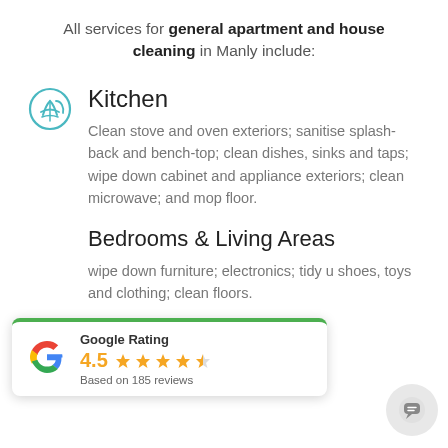All services for general apartment and house cleaning in Manly include:
Kitchen
Clean stove and oven exteriors; sanitise splash-back and bench-top; clean dishes, sinks and taps; wipe down cabinet and appliance exteriors; clean microwave; and mop floor.
Bedrooms & Living Areas
wipe down furniture; electronics; tidy u shoes, toys and clothing; clean floors.
[Figure (logo): Google Rating widget showing 4.5 stars based on 185 reviews with Google G logo and green top border]
[Figure (illustration): Chat bubble icon in grey circle]